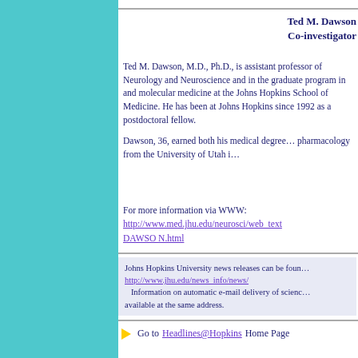Ted M. Dawson
Co-investigator
Ted M. Dawson, M.D., Ph.D., is assistant professor of Neurology and Neuroscience and in the graduate program in molecular medicine at the Johns Hopkins School of Medicine. He has been at Johns Hopkins since 1992 as a postdoctoral fellow.
Dawson, 36, earned both his medical degree and his Ph.D. in pharmacology from the University of Utah in
For more information via WWW:
http://www.med.jhu.edu/neurosci/web_text/DAWSON.html
Johns Hopkins University news releases can be found at http://www.jhu.edu/news_info/news/
    Information on automatic e-mail delivery of science news is available at the same address.
Go to Headlines@HopkinsHome Page